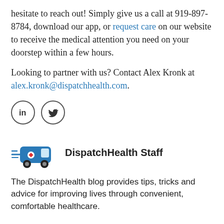hesitate to reach out! Simply give us a call at 919-897-8784, download our app, or request care on our website to receive the medical attention you need on your doorstep within a few hours.
Looking to partner with us? Contact Alex Kronk at alex.kronk@dispatchhealth.com.
[Figure (illustration): LinkedIn and Twitter social media icon circles]
[Figure (logo): DispatchHealth logo: blue cartoon ambulance van with red cross and speed lines]
DispatchHealth Staff
The DispatchHealth blog provides tips, tricks and advice for improving lives through convenient, comfortable healthcare.